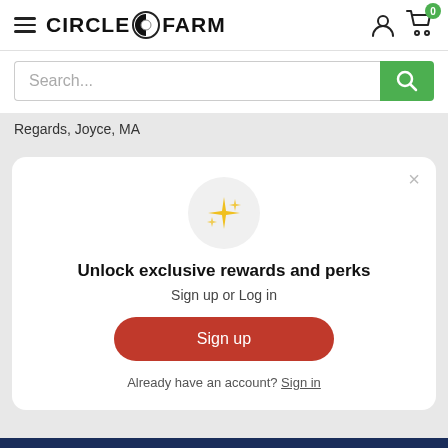CIRCLE C FARM
Search...
Regards, Joyce, MA
Unlock exclusive rewards and perks
Sign up or Log in
Sign up
Already have an account? Sign in